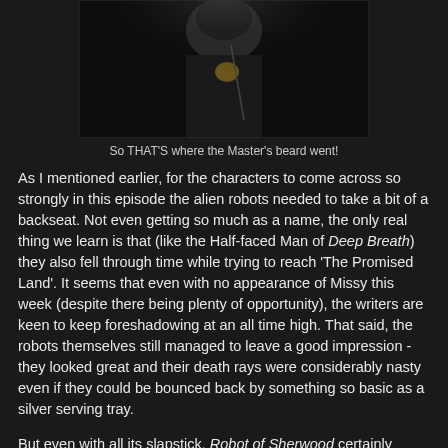[Figure (photo): A performer on stage wearing dark clothing, partially cropped image showing the upper body against a dark background]
So THAT'S where the Master's beard went!
As I mentioned earlier, for the characters to come across so strongly in this episode the alien robots needed to take a bit of a backseat. Not even getting so much as a name, the only real thing we learn is that (like the Half-faced Man of Deep Breath) they also fell through time while trying to reach 'The Promised Land'. It seems that even with no appearance of Missy this week (despite there being plenty of opportunity), the writers are keen to keep foreshadowing at an all time high. That said, the robots themselves still managed to leave a good impression - they looked great and their death rays were considerably nasty even if they could be bounced back by something so basic as a silver serving tray.
But even with all its slapstick, Robot of Sherwood certainly wasn't short on the heart. Addressing the parallels between